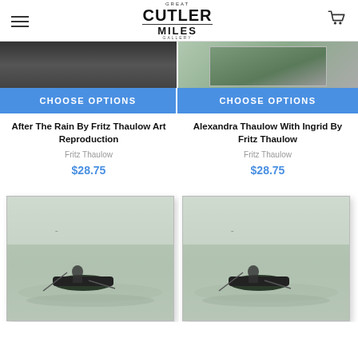Great Cutler Miles Gallery
[Figure (photo): Top portion of two art reproduction product images - left shows dark indoor scene, right shows canvas with green/nature scene]
CHOOSE OPTIONS
CHOOSE OPTIONS
After The Rain By Fritz Thaulow Art Reproduction
Alexandra Thaulow With Ingrid By Fritz Thaulow
Fritz Thaulow
Fritz Thaulow
$28.75
$28.75
[Figure (photo): Canvas art reproduction showing a person in a small boat on water - left product]
[Figure (photo): Canvas art reproduction showing a person in a small boat on water - right product]